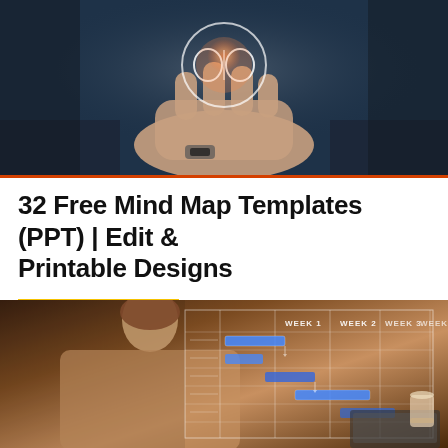[Figure (photo): Close-up photo of hands holding glowing brain/mind map icon, dark blue background]
32 Free Mind Map Templates (PPT) | Edit & Printable Designs
PLANNER TEMPLATES
[Figure (photo): Woman in beige blazer interacting with holographic Gantt chart/weekly planner displaying WEEK 1, WEEK 2, WEEK 3, WEEK 4 columns with blue bar elements]